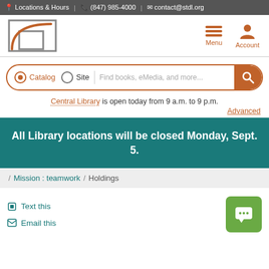Locations & Hours | (847) 985-4000 | contact@stdl.org
[Figure (logo): Suburban Township District Library logo: geometric grid with orange arc]
Menu
Account
Catalog  Site  Find books, eMedia, and more...
Central Library is open today from 9 a.m. to 9 p.m.
Advanced
All Library locations will be closed Monday, Sept. 5.
/ Mission : teamwork / Holdings
Text this
Email this